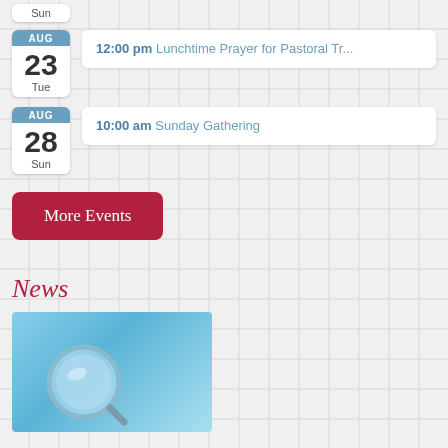Sun
AUG 23 Tue — 12:00 pm Lunchtime Prayer for Pastoral Tr...
AUG 28 Sun — 10:00 am Sunday Gathering
More Events
News
[Figure (photo): A magnifying glass on a light blue background, viewed from above]